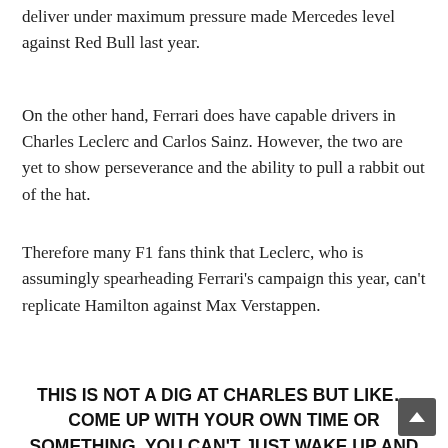deliver under maximum pressure made Mercedes level against Red Bull last year.
On the other hand, Ferrari does have capable drivers in Charles Leclerc and Carlos Sainz. However, the two are yet to show perseverance and the ability to pull a rabbit out of the hat.
Therefore many F1 fans think that Leclerc, who is assumingly spearheading Ferrari's campaign this year, can't replicate Hamilton against Max Verstappen.
THIS IS NOT A DIG AT CHARLES BUT LIKE… COME UP WITH YOUR OWN TIME OR SOMETHING. YOU CAN'T JUST WAKE UP AND BE LEWIS HAMILTON 🏆🏆🏆🏆🏆🏆 LOVE THO!